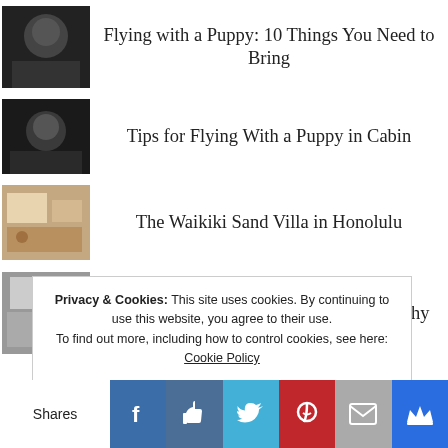Flying with a Puppy: 10 Things You Need to Bring
Tips for Flying With a Puppy in Cabin
The Waikiki Sand Villa in Honolulu
A Beginners Guide to Manual Photography
Privacy & Cookies: This site uses cookies. By continuing to use this website, you agree to their use. To find out more, including how to control cookies, see here: Cookie Policy
Shares [Facebook] [Like] [Twitter] [Pinterest] [Email] [Crown]